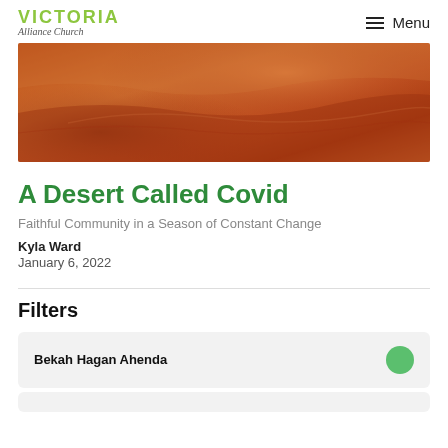VICTORIA Alliance Church | Menu
[Figure (photo): Desert sand dunes with warm orange/red tones, aerial or close-up view showing rippled sand textures.]
A Desert Called Covid
Faithful Community in a Season of Constant Change
Kyla Ward
January 6, 2022
Filters
Bekah Hagan Ahenda